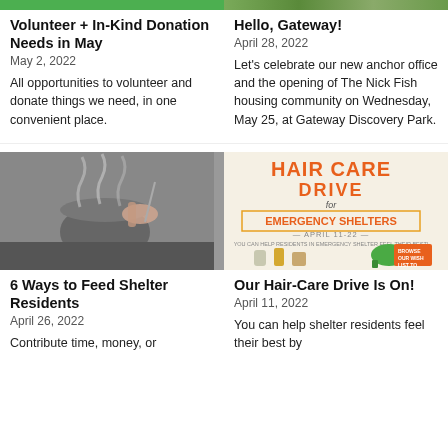[Figure (photo): Green banner/bar at top of left card]
Volunteer + In-Kind Donation Needs in May
May 2, 2022
All opportunities to volunteer and donate things we need, in one convenient place.
[Figure (photo): Nature/outdoor photo cropped at top of right card]
Hello, Gateway!
April 28, 2022
Let's celebrate our new anchor office and the opening of The Nick Fish housing community on Wednesday, May 25, at Gateway Discovery Park.
[Figure (photo): Photo of person cooking with steam rising from pan]
6 Ways to Feed Shelter Residents
April 26, 2022
Contribute time, money, or
[Figure (illustration): Hair Care Drive promotional graphic for Emergency Shelters, April 11-22, showing hygiene products]
Our Hair-Care Drive Is On!
April 11, 2022
You can help shelter residents feel their best by